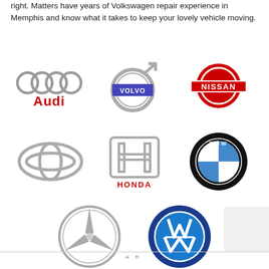right. Matters have years of Volkswagen repair experience in Memphis and know what it takes to keep your lovely vehicle moving.
[Figure (logo): Grid of 8 car brand logos: Audi, Volvo, Nissan, Toyota, Honda, BMW, Mercedes-Benz, Volkswagen]